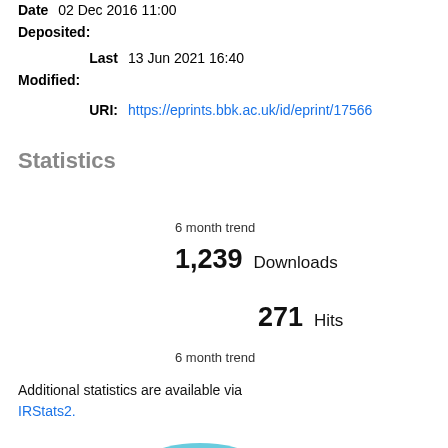Date: 02 Dec 2016 11:00 Deposited:
Last Modified: 13 Jun 2021 16:40
URI: https://eprints.bbk.ac.uk/id/eprint/17566
Statistics
6 month trend
1,239 Downloads
271 Hits
6 month trend
Additional statistics are available via IRStats2.
[Figure (other): Partial blue donut/pie chart visible at bottom of page]